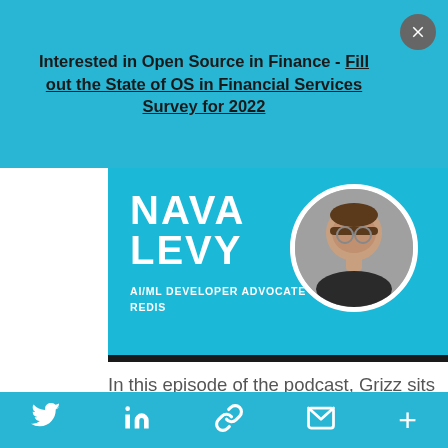Interested in Open Source in Finance - Fill out the State of OS in Financial Services Survey for 2022
[Figure (photo): Podcast banner with name 'NAVA LEVY', title 'AI/ML DEVELOPER ADVOCATE REDIS', and circular photo of Nava Levy on a blue background]
In this episode of the podcast, Grizz sits down with Nava Levy, AI/ML Developer Advocate at Redis to talk about her OSFF talk: "The Challenges of Deploying Real-time AI for Finance and how Open Source can help". Plus, we talk about artificial intelligence and machine learning and deep learning, how it can apply to finance, and how open source has a place in all of this.
Social share icons: Twitter, LinkedIn, Link, Email, More